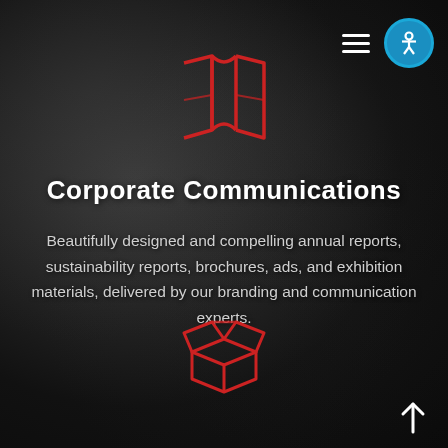[Figure (illustration): Red outline map/book fold icon on dark background]
Corporate Communications
Beautifully designed and compelling annual reports, sustainability reports, brochures, ads, and exhibition materials, delivered by our branding and communication experts.
[Figure (illustration): Red outline open box/package icon on dark background]